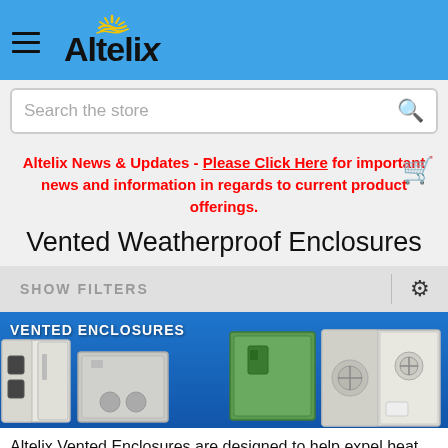Altelix
Search the store
Altelix News & Updates - Please Click Here for important news and information in regards to current product offerings.
Vented Weatherproof Enclosures
SHOW FILTERS
[Figure (photo): Banner image showing Vented Enclosures: multiple weatherproof enclosures including white, gray, and green models with fans and vents, on blue background with text VENTED ENCLOSURES]
Altelix Vented Enclosures are designed to help expel heat